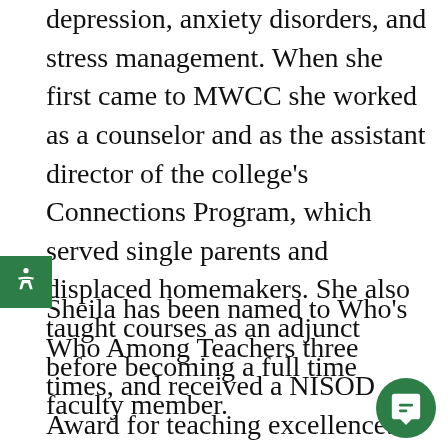depression, anxiety disorders, and stress management. When she first came to MWCC she worked as a counselor and as the assistant director of the college's Connections Program, which served single parents and displaced homemakers. She also taught courses as an adjunct before becoming a full time faculty member.
Sheila has been named to Who's Who Among Teachers three times, and received a NISOD Award for teaching excellence. Her online Introduction to Psychology course won the first-ever COD Award (Course of Distinction) presented by Mass Colleges Online. She received a Woman of Distinction Award from